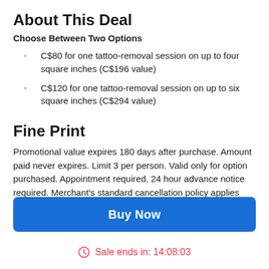About This Deal
Choose Between Two Options
C$80 for one tattoo-removal session on up to four square inches (C$196 value)
C$120 for one tattoo-removal session on up to six square inches (C$294 value)
Fine Print
Promotional value expires 180 days after purchase. Amount paid never expires. Limit 3 per person. Valid only for option purchased. Appointment required, 24 hour advance notice required. Merchant's standard cancellation policy applies (any fees not to
Buy Now
Sale ends in: 14:08:03